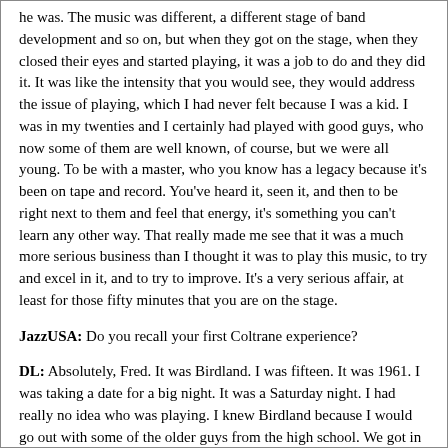he was. The music was different, a different stage of band development and so on, but when they got on the stage, when they closed their eyes and started playing, it was a job to do and they did it. It was like the intensity that you would see, they would address the issue of playing, which I had never felt because I was a kid. I was in my twenties and I certainly had played with good guys, who now some of them are well known, of course, but we were all young. To be with a master, who you know has a legacy because it's been on tape and record. You've heard it, seen it, and then to be right next to them and feel that energy, it's something you can't learn any other way. That really made me see that it was a much more serious business than I thought it was to play this music, to try and excel in it, and to try to improve. It's a very serious affair, at least for those fifty minutes that you are on the stage.
JazzUSA: Do you recall your first Coltrane experience?
DL: Absolutely, Fred. It was Birdland. I was fifteen. It was 1961. I was taking a date for a big night. It was a Saturday night. I had really no idea who was playing. I knew Birdland because I would go out with some of the older guys from the high school. We got in and it was Bill Evans Trio and John Coltrane. I really didn't know much about any of them. I remember it was pretty crowded and if you were under age at that time, Birdland allowed you to sit in what was called a Peanut Gallery, like at the last row. There was about four, five tables there and whoever got there first could stay all night. So we were back there and the Bill Evans Trio, well, I remember it was very noisy and you couldn't really hear. The piano player had his head down and it looked like he was playing in his home, very introverted music so it didn't leave much of an impression. And then, Coltrane came on and it was with Eric Dolphy. It ended up being that it's the tapes from the Vanguard, the Village Vanguard sessions. It was that, I don't know if it was that specific